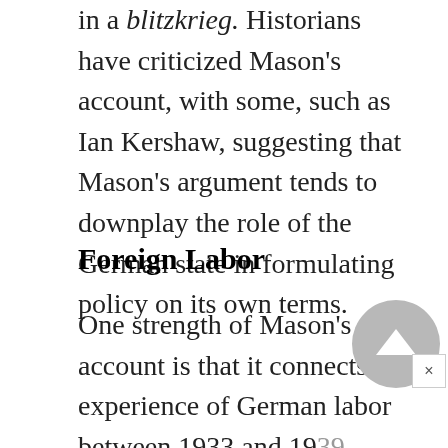in a blitzkrieg. Historians have criticized Mason's account, with some, such as Ian Kershaw, suggesting that Mason's argument tends to downplay the role of the German state in formulating policy on its own terms.
Foreign Labor
One strength of Mason's account is that it connects the experience of German labor between 1933 and 1939 to the wartime conditions experienced by non-German labor. According to